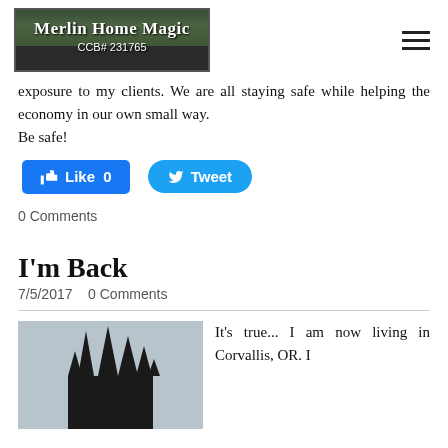Merlin Home Magic CCB# 231765
exposure to my clients. We are all staying safe while helping the economy in our own small way. Be safe!
[Figure (other): Facebook Like button showing 0 likes and Twitter Tweet button]
0 Comments
I'm Back
7/5/2017   0 Comments
[Figure (photo): Dark silhouette of a spiky castle or fantasy structure against a grey sky background]
It's true... I am now living in Corvallis, OR. I